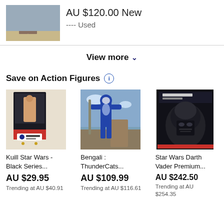[Figure (photo): Product photo showing action figure legs on sandy ground]
AU $120.00 New
---- Used
View more ∨
Save on Action Figures ℹ
[Figure (photo): Kuill Star Wars Black Series action figure in box with Brickheads Collectibles branding]
Kuill Star Wars - Black Series...
AU $29.95
Trending at AU $40.91
[Figure (photo): Bengali ThunderCats blue armored action figure outdoors]
Bengali : ThunderCats...
AU $109.99
Trending at AU $116.61
[Figure (photo): Star Wars Darth Vader Premium helmet box]
Star Wars Darth Vader Premium...
AU $242.50
Trending at AU $254.35